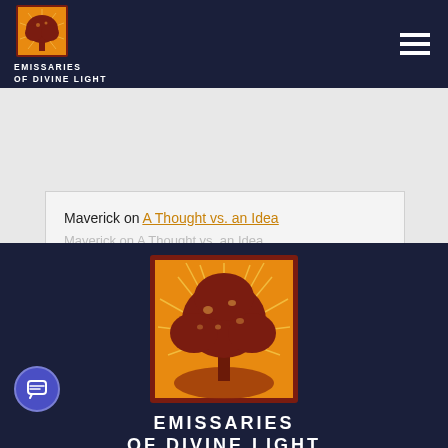Emissaries of Divine Light
Maverick on A Thought vs. an Idea
[Figure (logo): Emissaries of Divine Light logo — large oak tree on orange/gold sunburst background with dark red border, centered in footer section]
EMISSARIES OF DIVINE LIGHT
©2019 BY Emissaries of Divine Light